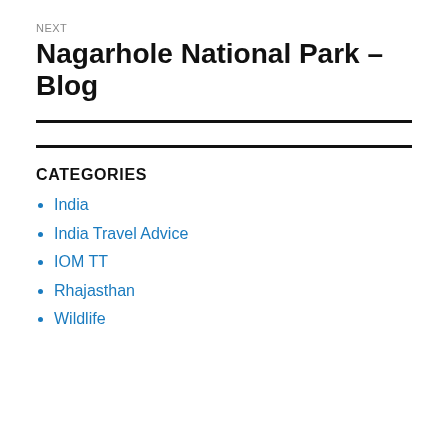NEXT
Nagarhole National Park – Blog
CATEGORIES
India
India Travel Advice
IOM TT
Rhajasthan
Wildlife